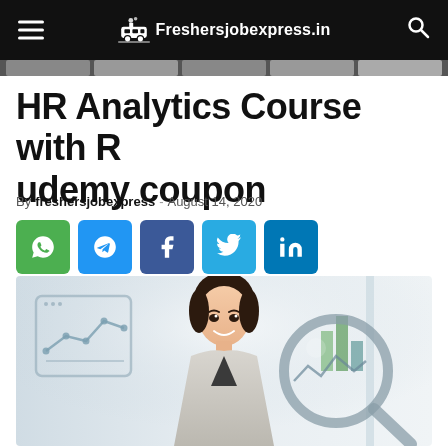Freshersjobexpress.in
HR Analytics Course with R udemy coupon
By freshersjobexpress - August 14, 2020
[Figure (infographic): Social share buttons: WhatsApp (green), Telegram (blue), Facebook (dark blue), Twitter (light blue), LinkedIn (blue)]
[Figure (photo): A professional woman in a light suit smiling, with a chart line graph overlay on the left and a magnifying glass with analytics charts on the right — HR analytics course hero image]